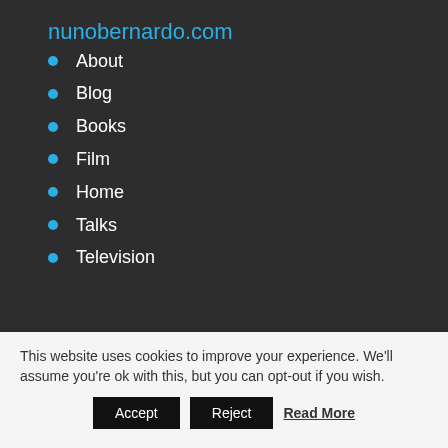nunobernardo.com
About
Blog
Books
Film
Home
Talks
Television
This website uses cookies to improve your experience. We'll assume you're ok with this, but you can opt-out if you wish.
Accept   Reject   Read More